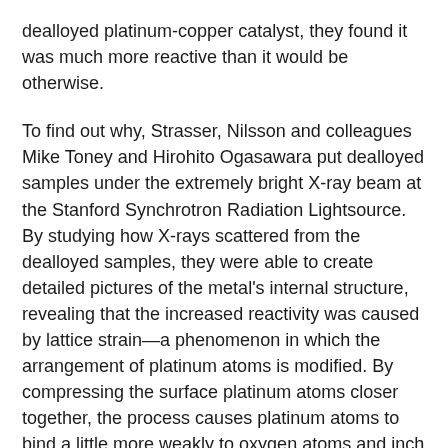dealloyed platinum-copper catalyst, they found it was much more reactive than it would be otherwise.
To find out why, Strasser, Nilsson and colleagues Mike Toney and Hirohito Ogasawara put dealloyed samples under the extremely bright X-ray beam at the Stanford Synchrotron Radiation Lightsource. By studying how X-rays scattered from the dealloyed samples, they were able to create detailed pictures of the metal's internal structure, revealing that the increased reactivity was caused by lattice strain—a phenomenon in which the arrangement of platinum atoms is modified. By compressing the surface platinum atoms closer together, the process causes platinum atoms to bind a little more weakly to oxygen atoms and inch closer to that magical balance point between molecule dissociation and catalytic binding.
"The distance between two neighboring atoms affects their electronic structure," Strasser said. "By changing the interatomic distance, we can manipulate how strongly they form bonds."